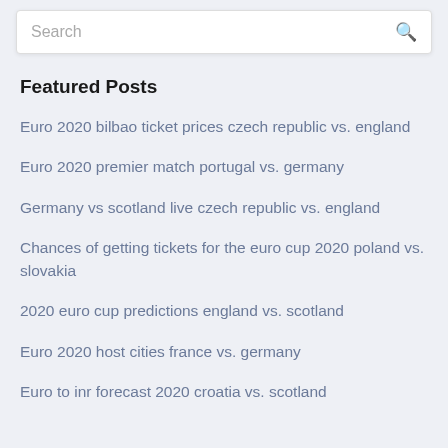Search
Featured Posts
Euro 2020 bilbao ticket prices czech republic vs. england
Euro 2020 premier match portugal vs. germany
Germany vs scotland live czech republic vs. england
Chances of getting tickets for the euro cup 2020 poland vs. slovakia
2020 euro cup predictions england vs. scotland
Euro 2020 host cities france vs. germany
Euro to inr forecast 2020 croatia vs. scotland